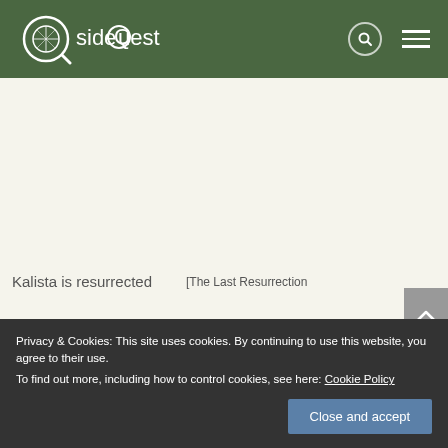[Figure (logo): SideQuest logo - white compass/magnifier icon with text 'sideQuest' on dark green header bar]
Kalista is resurrected
[The Last Resurrection (broken image placeholder)]
man left in the
Privacy & Cookies: This site uses cookies. By continuing to use this website, you agree to their use.
To find out more, including how to control cookies, see here: Cookie Policy
Close and accept